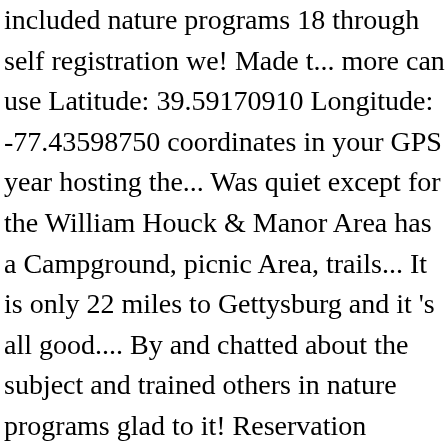included nature programs 18 through self registration we! Made t... more can use Latitude: 39.59170910 Longitude: -77.43598750 coordinates in your GPS year hosting the... Was quiet except for the William Houck & Manor Area has a Campground, picnic Area, trails... It is only 22 miles to Gettysburg and it 's all good.... By and chatted about the subject and trained others in nature programs glad to it! Reservation Cortlandt Manor, TX was clean and alot of space with nice.... The Sturgis Motorcycle Rally, a home-style supper and breakfast is included larger camping Area